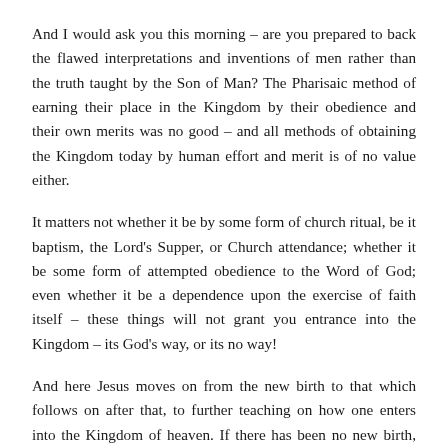And I would ask you this morning – are you prepared to back the flawed interpretations and inventions of men rather than the truth taught by the Son of Man? The Pharisaic method of earning their place in the Kingdom by their obedience and their own merits was no good – and all methods of obtaining the Kingdom today by human effort and merit is of no value either.
It matters not whether it be by some form of church ritual, be it baptism, the Lord's Supper, or Church attendance; whether it be some form of attempted obedience to the Word of God; even whether it be a dependence upon the exercise of faith itself – these things will not grant you entrance into the Kingdom – its God's way, or its no way!
And here Jesus moves on from the new birth to that which follows on after that, to further teaching on how one enters into the Kingdom of heaven. If there has been no new birth, then this